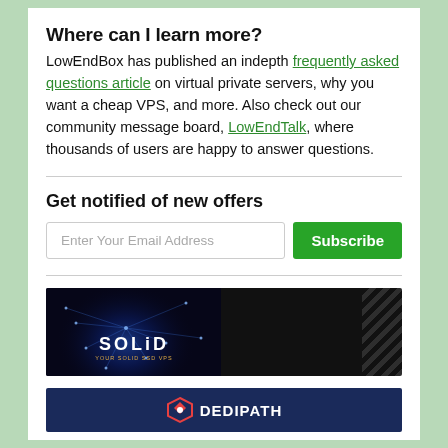Where can I learn more?
LowEndBox has published an indepth frequently asked questions article on virtual private servers, why you want a cheap VPS, and more. Also check out our community message board, LowEndTalk, where thousands of users are happy to answer questions.
Get notified of new offers
Enter Your Email Address [Subscribe button]
[Figure (illustration): SOLiD VPS advertisement banner showing a glowing blue globe on dark background with 'SOLiD YOUR SOLID SSD VPS' text]
[Figure (logo): DEDIPATH advertisement banner with logo on dark blue background]